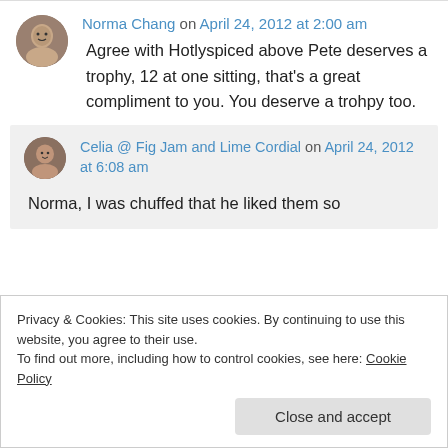Norma Chang on April 24, 2012 at 2:00 am
Agree with Hotlyspiced above Pete deserves a trophy, 12 at one sitting, that’s a great compliment to you. You deserve a trohpy too.
Celia @ Fig Jam and Lime Cordial on April 24, 2012 at 6:08 am
Norma, I was chuffed that he liked them so
Privacy & Cookies: This site uses cookies. By continuing to use this website, you agree to their use.
To find out more, including how to control cookies, see here: Cookie Policy
Close and accept